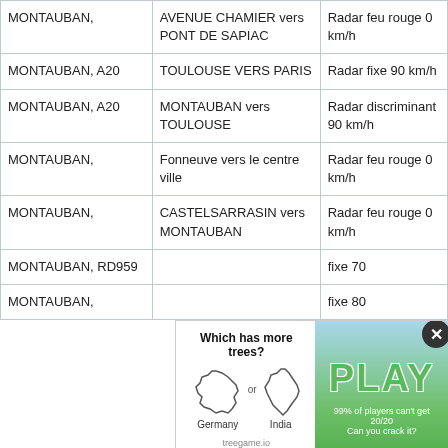| Commune | Emplacement | Type de radar |
| --- | --- | --- |
| MONTAUBAN, | AVENUE CHAMIER vers PONT DE SAPIAC | Radar feu rouge 0 km/h |
| MONTAUBAN, A20 | TOULOUSE VERS PARIS | Radar fixe 90 km/h |
| MONTAUBAN, A20 | MONTAUBAN vers TOULOUSE | Radar discriminant 90 km/h |
| MONTAUBAN, | Fonneuve vers le centre ville | Radar feu rouge 0 km/h |
| MONTAUBAN, | CASTELSARRASIN vers MONTAUBAN | Radar feu rouge 0 km/h |
| MONTAUBAN, RD959 |  | fixe 70 |
| MONTAUBAN, |  | fixe 80 |
[Figure (other): Advertisement overlay: 'Which has more trees?' quiz game showing Germany vs India country outlines with PLAY button. Treegame.io branding.]